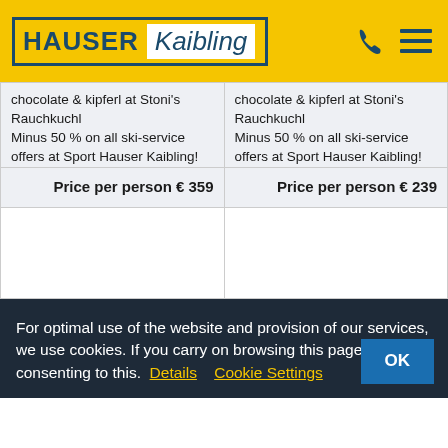[Figure (logo): Hauser Kaibling logo with phone and menu icons on yellow header]
| chocolate & kipferl at Stoni's Rauchkuchl
Minus 50 % on all ski-service offers at Sport Hauser Kaibling! | chocolate & kipferl at Stoni's Rauchkuchl
Minus 50 % on all ski-service offers at Sport Hauser Kaibling! |
| Price per person € 359 | Price per person € 239 |
|  |  |
For optimal use of the website and provision of our services, we use cookies. If you carry on browsing this page, you are consenting to this. Details  Cookie Settings